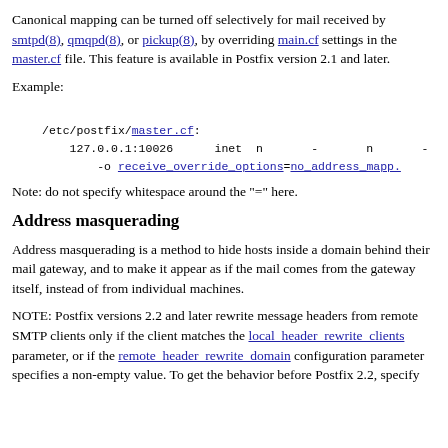Canonical mapping can be turned off selectively for mail received by smtpd(8), qmqpd(8), or pickup(8), by overriding main.cf settings in the master.cf file. This feature is available in Postfix version 2.1 and later.
Example:
/etc/postfix/master.cf:
    127.0.0.1:10026      inet  n       -       n       -
        -o receive_override_options=no_address_mapp.
Note: do not specify whitespace around the "=" here.
Address masquerading
Address masquerading is a method to hide hosts inside a domain behind their mail gateway, and to make it appear as if the mail comes from the gateway itself, instead of from individual machines.
NOTE: Postfix versions 2.2 and later rewrite message headers from remote SMTP clients only if the client matches the local_header_rewrite_clients parameter, or if the remote_header_rewrite_domain configuration parameter specifies a non-empty value. To get the behavior before Postfix 2.2, specify